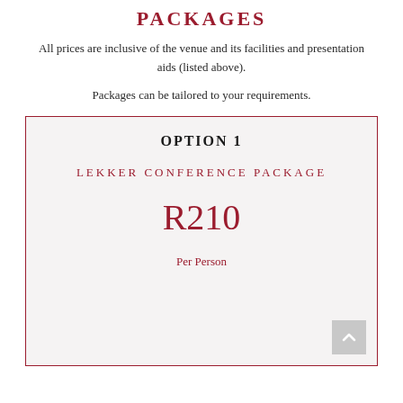PACKAGES
All prices are inclusive of the venue and its facilities and presentation aids (listed above).
Packages can be tailored to your requirements.
OPTION 1
LEKKER CONFERENCE PACKAGE
R210
Per Person